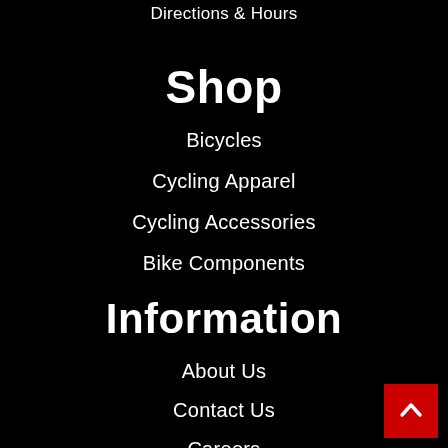Directions & Hours
Shop
Bicycles
Cycling Apparel
Cycling Accessories
Bike Components
Information
About Us
Contact Us
Careers
Financing
[Figure (illustration): Red back-to-top button with white upward chevron arrow in bottom-right corner]